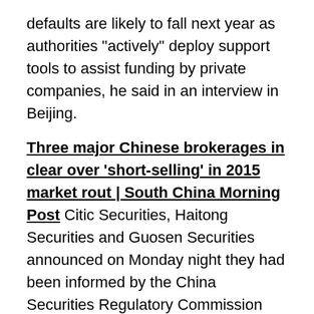defaults are likely to fall next year as authorities "actively" deploy support tools to assist funding by private companies, he said in an interview in Beijing.
Three major Chinese brokerages in clear over 'short-selling' in 2015 market rout | South China Morning Post Citic Securities, Haitong Securities and Guosen Securities announced on Monday night they had been informed by the China Securities Regulatory Commission (CSRC)that the alleged wrongdoing could not be established and the authority had decided to close their cases. The decision to throw out the charges after an investigation lasting more than three years spared the companies having to pay the fines set by the watchdog in 2015, according to a report by Thepaper.cn.